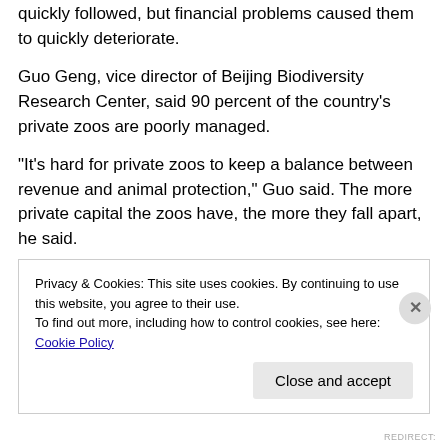quickly followed, but financial problems caused them to quickly deteriorate.
Guo Geng, vice director of Beijing Biodiversity Research Center, said 90 percent of the country’s private zoos are poorly managed.
“It’s hard for private zoos to keep a balance between revenue and animal protection,” Guo said. The more private capital the zoos have, the more they fall apart, he said.
Privacy & Cookies: This site uses cookies. By continuing to use this website, you agree to their use.
To find out more, including how to control cookies, see here: Cookie Policy
REDIRECT: